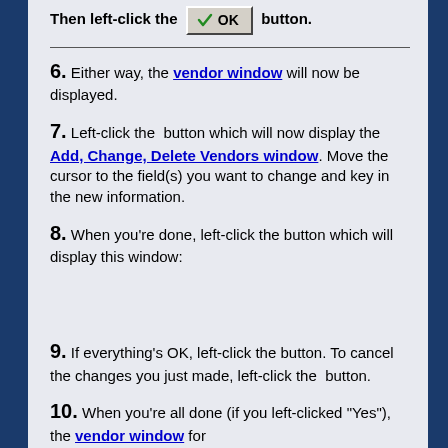Then left-click the OK button.
6. Either way, the vendor window will now be displayed.
7. Left-click the button which will now display the Add, Change, Delete Vendors window. Move the cursor to the field(s) you want to change and key in the new information.
8. When you're done, left-click the button which will display this window:
9. If everything's OK, left-click the button. To cancel the changes you just made, left-click the button.
10. When you're all done (if you left-clicked "Yes"), the vendor window for